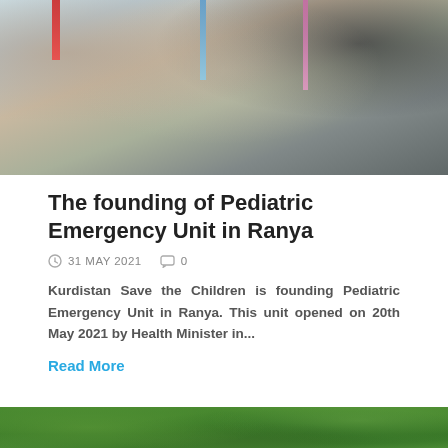[Figure (photo): Group of people at a ribbon-cutting or opening ceremony, with colorful ribbons (red, blue, pink) visible. Attendees in formal and casual dress.]
The founding of Pediatric Emergency Unit in Ranya
31 MAY 2021   0
Kurdistan Save the Children is founding Pediatric Emergency Unit in Ranya. This unit opened on 20th May 2021 by Health Minister in...
Read More
[Figure (photo): Outdoor scene with green trees and foliage, partial view of a building or sign structure in the background.]